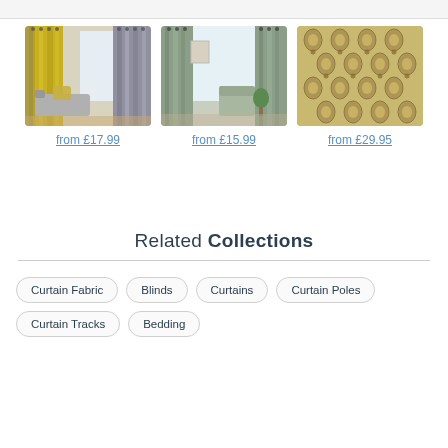[Figure (photo): Yellow and grey striped curtains in a living room setting]
from £17.99
[Figure (photo): Sage green eyelet curtains in a bright room]
from £15.99
[Figure (photo): Beige floral damask patterned curtain fabric]
from £29.95
Related Collections
Curtain Fabric
Blinds
Curtains
Curtain Poles
Curtain Tracks
Bedding